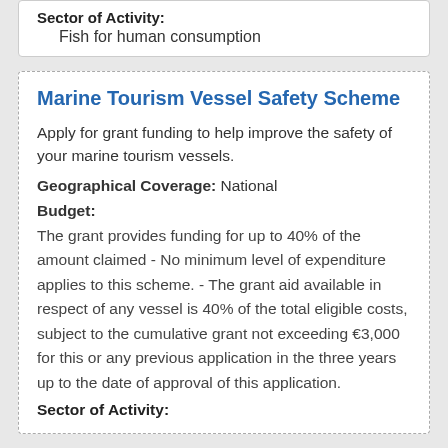Sector of Activity: Fish for human consumption
Marine Tourism Vessel Safety Scheme
Apply for grant funding to help improve the safety of your marine tourism vessels.
Geographical Coverage: National
Budget:
The grant provides funding for up to 40% of the amount claimed - No minimum level of expenditure applies to this scheme. - The grant aid available in respect of any vessel is 40% of the total eligible costs, subject to the cumulative grant not exceeding €3,000 for this or any previous application in the three years up to the date of approval of this application.
Sector of Activity: